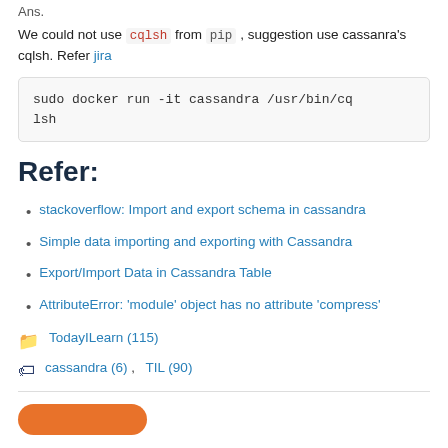Ans.
We could not use cqlsh from pip , suggestion use cassanra's cqlsh. Refer jira
sudo docker run -it cassandra /usr/bin/cqlsh
Refer:
stackoverflow: Import and export schema in cassandra
Simple data importing and exporting with Cassandra
Export/Import Data in Cassandra Table
AttributeError: 'module' object has no attribute 'compress'
TodayILearn (115)
cassandra (6) ,   TIL (90)